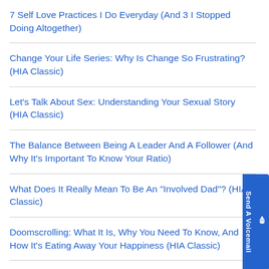7 Self Love Practices I Do Everyday (And 3 I Stopped Doing Altogether)
Change Your Life Series: Why Is Change So Frustrating? (HIA Classic)
Let's Talk About Sex: Understanding Your Sexual Story (HIA Classic)
The Balance Between Being A Leader And A Follower (And Why It's Important To Know Your Ratio)
What Does It Really Mean To Be An "Involved Dad"? (HIA Classic)
Doomscrolling: What It Is, Why You Need To Know, And How It's Eating Away Your Happiness (HIA Classic)
See all →
Browse episodes by category